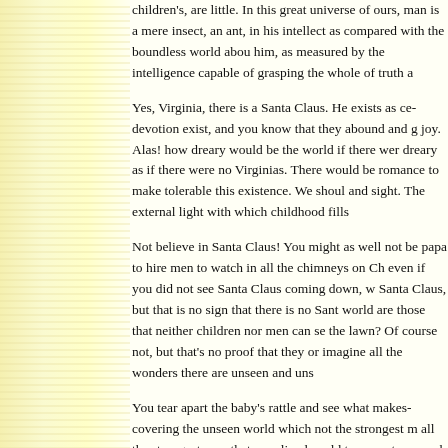children's, are little. In this great universe of ours, man is a mere insect, an ant, in his intellect as compared with the boundless world about him, as measured by the intelligence capable of grasping the whole of truth and knowledge.
Yes, Virginia, there is a Santa Claus. He exists as certainly as love and generosity and devotion exist, and you know that they abound and give to your life its highest beauty and joy. Alas! how dreary would be the world if there were no Santa Claus. It would be as dreary as if there were no Virginias. There would be no childlike faith then, no poetry, no romance to make tolerable this existence. We should have no enjoyment, except in sense and sight. The external light with which childhood fills the world would be extinguished.
Not believe in Santa Claus! You might as well not believe in fairies! You might get your papa to hire men to watch in all the chimneys on Christmas Eve to catch Santa Claus, but even if you did not see Santa Claus coming down, what would that prove? Nobody sees Santa Claus, but that is no sign that there is no Santa Claus. The most real things in the world are those that neither children nor men can see. Did you ever see fairies dancing on the lawn? Of course not, but that's no proof that they are not there. Nobody can conceive or imagine all the wonders there are unseen and unseeable in the world.
You tear apart the baby's rattle and see what makes the noise inside, but there is a veil covering the unseen world which not the strongest man, nor even the united strength of all the strongest men that ever lived could tear apart. Only faith, fancy, poetry, love, romance, can push aside that curtain and view and picture the supernal beauty and glory beyond. Is it all real? Ah, Virginia, in all this world there is nothing else real and abiding. No Santa Claus! Thank God! he lives and lives forever. A thousand years from now, Virginia, nay, ten times 10,000 years from now, he will continue to make glad the heart of childhood.